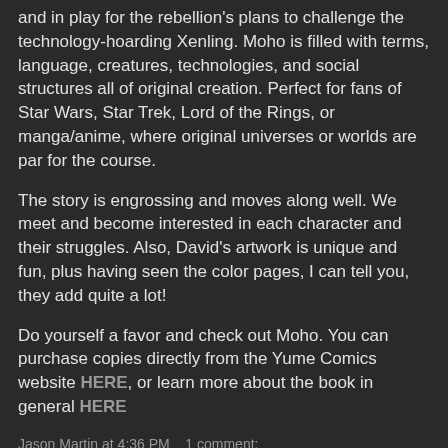and in play for the rebellion's plans to challenge the technology-hoarding Xenling. Moho is filled with terms, language, creatures, technologies, and social structures all of original creation. Perfect for fans of Star Wars, Star Trek, Lord of the Rings, or manga/anime, where original universes or worlds are par for the course.
The story is engrossing and moves along well. We meet and become interested in each character and their struggles. Also, David's artwork is unique and fun, plus having seen the color pages, I can tell you, they add quite a lot!
Do yourself a favor and check out Moho. You can purchase copies directly from the Yume Comics website HERE, or learn more about the book in general HERE
Jason Martin at 4:36 PM   1 comment:
Share
It's a wild WIZARD WORLD...